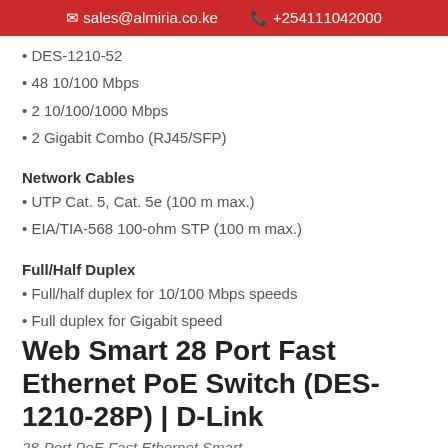sales@almiria.co.ke  +254111042000
DES-1210-52
48 10/100 Mbps
2 10/100/1000 Mbps
2 Gigabit Combo (RJ45/SFP)
Network Cables
UTP Cat. 5, Cat. 5e (100 m max.)
EIA/TIA-568 100-ohm STP (100 m max.)
Full/Half Duplex
Full/half duplex for 10/100 Mbps speeds
Full duplex for Gigabit speed
Web Smart 28 Port Fast Ethernet PoE Switch (DES-1210-28P) | D-Link
28-Port PoE Fast Ethernet Smart